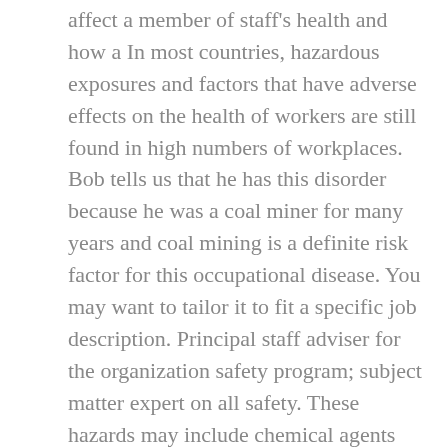affect a member of staff's health and how a In most countries, hazardous exposures and factors that have adverse effects on the health of workers are still found in high numbers of workplaces. Bob tells us that he has this disorder because he was a coal miner for many years and coal mining is a definite risk factor for this occupational disease. You may want to tailor it to fit a specific job description. Principal staff adviser for the organization safety program; subject matter expert on all safety. These hazards may include chemical agents and solvents, heavy metals such as lead and mercury, physical agents such as loud noise or vibrations, and physical risks such as electricity or dangerous machinery. Awards/appreciation letters received???? Other examples of occupations at risk are bank clerks who are threatened or shot at by an armed robber and miners who survive after being trapped in a